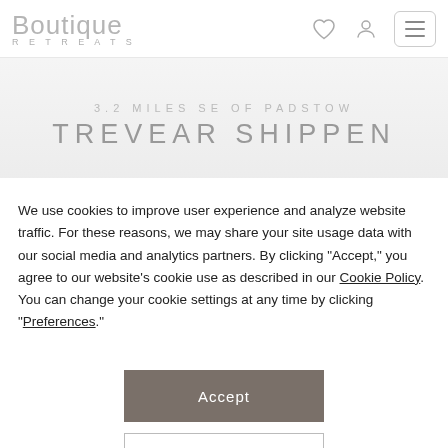Boutique Retreats
3.2 MILES SE OF PADSTOW
TREVEAR SHIPPEN
We use cookies to improve user experience and analyze website traffic. For these reasons, we may share your site usage data with our social media and analytics partners. By clicking “Accept,” you agree to our website’s cookie use as described in our Cookie Policy. You can change your cookie settings at any time by clicking “Preferences.”
Accept
Preferences